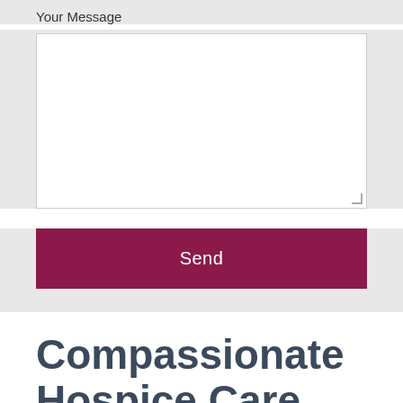Your Message
[Figure (other): Empty white text area input box for composing a message]
Send
Compassionate Hospice Care
Kindred Hospice – Daytona Beach is committed to clinical excellence while providing comfort and dignity to both the patient and family who are facing a life-limiting illness.
We are here 24/7/365